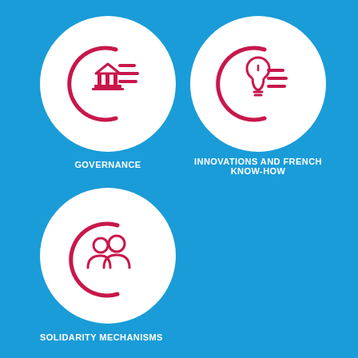[Figure (infographic): Three white circles on blue background each containing a crimson icon. Top-left circle has governance icon (building/institution with circular accent). Top-right circle has innovation icon (lightbulb with circular accent). Bottom-left circle has solidarity icon (people/group with circular accent).]
GOVERNANCE
INNOVATIONS AND FRENCH KNOW-HOW
SOLIDARITY MECHANISMS